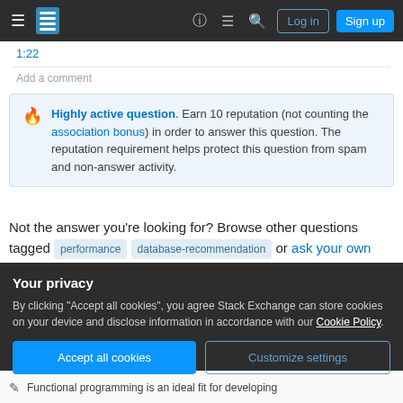Stack Exchange navigation bar with hamburger menu, logo, help icon, chat icon, search icon, Log in and Sign up buttons
1:22
Add a comment
Highly active question. Earn 10 reputation (not counting the association bonus) in order to answer this question. The reputation requirement helps protect this question from spam and non-answer activity.
Not the answer you're looking for? Browse other questions tagged performance database-recommendation or ask your own
Your privacy
By clicking "Accept all cookies", you agree Stack Exchange can store cookies on your device and disclose information in accordance with our Cookie Policy.
Accept all cookies
Customize settings
Functional programming is an ideal fit for developing